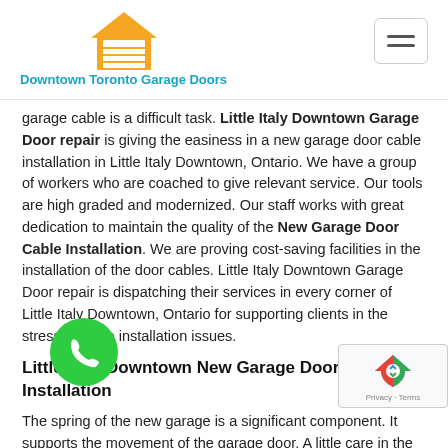Downtown Toronto Garage Doors
garage cable is a difficult task. Little Italy Downtown Garage Door repair is giving the easiness in a new garage door cable installation in Little Italy Downtown, Ontario. We have a group of workers who are coached to give relevant service. Our tools are high graded and modernized. Our staff works with great dedication to maintain the quality of the New Garage Door Cable Installation. We are proving cost-saving facilities in the installation of the door cables. Little Italy Downtown Garage Door repair is dispatching their services in every corner of Little Italy Downtown, Ontario for supporting clients in the stressful cable installation issues.
Little Italy Downtown New Garage Door Spring Installation
The spring of the new garage is a significant component. It supports the movement of the garage door. A little carelessness in the condition of the spring can lead to the Malfunction of Garage Door. To save you from this hectic condition Little Italy Downtown Garage Door repair is performing the new garage